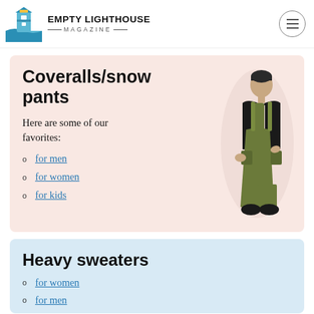EMPTY LIGHTHOUSE MAGAZINE
Coveralls/snow pants
Here are some of our favorites:
for men
for women
for kids
[Figure (photo): Man wearing olive green coverall/snow bib pants and black jacket]
Heavy sweaters
for women
for men